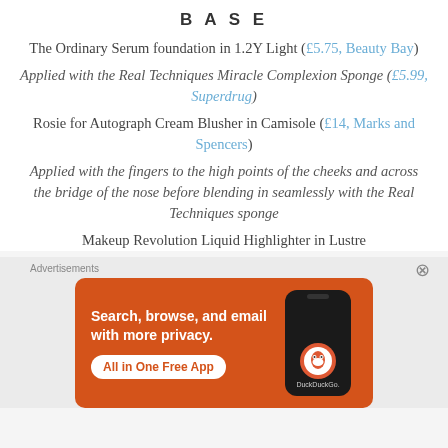BASE
The Ordinary Serum foundation in 1.2Y Light (£5.75, Beauty Bay)
Applied with the Real Techniques Miracle Complexion Sponge (£5.99, Superdrug)
Rosie for Autograph Cream Blusher in Camisole (£14, Marks and Spencers)
Applied with the fingers to the high points of the cheeks and across the bridge of the nose before blending in seamlessly with the Real Techniques sponge
Makeup Revolution Liquid Highlighter in Lustre
[Figure (screenshot): DuckDuckGo advertisement banner: orange background with text 'Search, browse, and email with more privacy. All in One Free App' and a phone mockup showing DuckDuckGo logo]